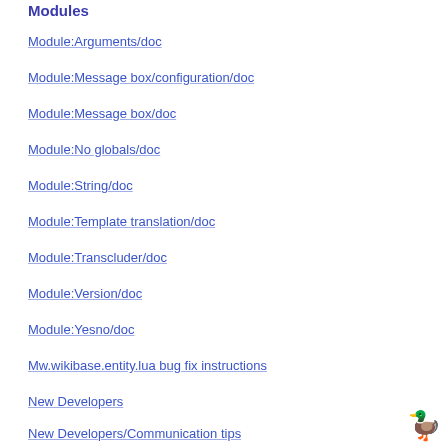Modules
Module:Arguments/doc
Module:Message box/configuration/doc
Module:Message box/doc
Module:No globals/doc
Module:String/doc
Module:Template translation/doc
Module:Transcluder/doc
Module:Version/doc
Module:Yesno/doc
Mw.wikibase.entity.lua bug fix instructions
New Developers
New Developers/Communication tips